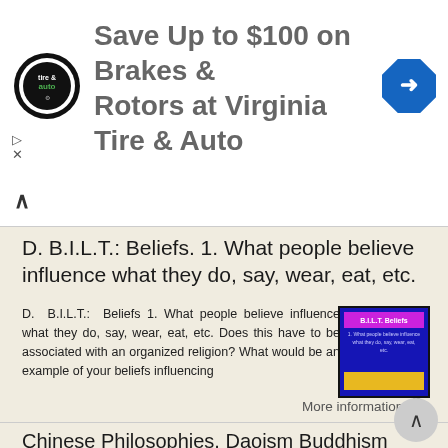[Figure (other): Advertisement banner: Save Up to $100 on Brakes & Rotors at Virginia Tire & Auto, with logo and direction icon]
D. B.I.L.T.: Beliefs. 1. What people believe influence what they do, say, wear, eat, etc.
D. B.I.L.T.: Beliefs 1. What people believe influence what they do, say, wear, eat, etc. Does this have to be associated with an organized religion? What would be an example of your beliefs influencing
More information →
Chinese Philosophies. Daoism Buddhism Confucianism
Chinese Philosophies Daoism Buddhism